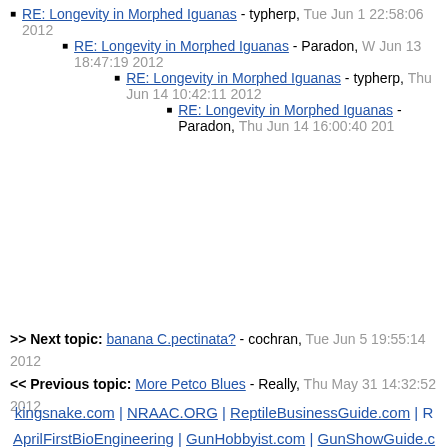RE: Longevity in Morphed Iguanas - typherp, Tue Jun 1 22:58:06 2012
RE: Longevity in Morphed Iguanas - Paradon, W Jun 13 18:47:19 2012
RE: Longevity in Morphed Iguanas - typherp, Thu Jun 14 10:42:11 2012
RE: Longevity in Morphed Iguanas - Paradon, Thu Jun 14 16:00:40 201
>> Next topic: banana C.pectinata? - cochran, Tue Jun 5 19:55:14 2012
<< Previous topic: More Petco Blues - Really, Thu May 31 14:32:52 2012
kingsnake.com | NRAAC.ORG | ReptileBusinessGuide.com | R AprilFirstBioEngineering | GunHobbyist.com | GunShowGuide.c
[Figure (logo): powered by kingsnake.com logo placeholder]
[Figure (photo): The Bean Farm banner ad - We've got the heating products YOU NEED. HELIX]
pool banner - advertise he
kingsnake.com® i - this site opt